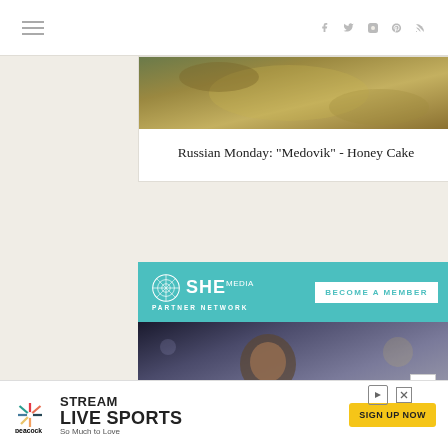Navigation bar with hamburger menu and social icons (Facebook, Twitter, Instagram, Pinterest, RSS)
[Figure (photo): Food photo showing honey cake (Medovik) from above, partially visible at top of card]
Russian Monday: "Medovik" - Honey Cake
[Figure (advertisement): SHE Media Partner Network advertisement with teal background, logo, BECOME A MEMBER button, photo of smiling woman with glasses at laptop, and text WE HELP CONTENT CREATORS GROW BUSINESSES THROUGH...]
[Figure (advertisement): Peacock streaming advertisement: STREAM LIVE SPORTS SIGN UP NOW So Much to Love]